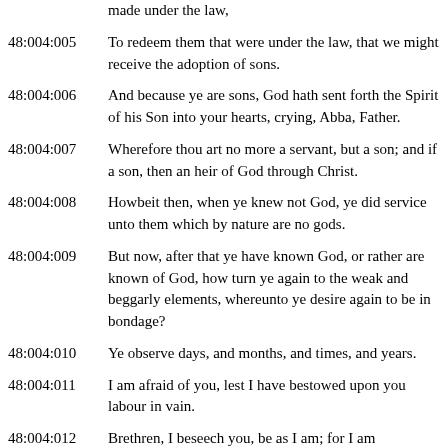made under the law,
48:004:005 To redeem them that were under the law, that we might receive the adoption of sons.
48:004:006 And because ye are sons, God hath sent forth the Spirit of his Son into your hearts, crying, Abba, Father.
48:004:007 Wherefore thou art no more a servant, but a son; and if a son, then an heir of God through Christ.
48:004:008 Howbeit then, when ye knew not God, ye did service unto them which by nature are no gods.
48:004:009 But now, after that ye have known God, or rather are known of God, how turn ye again to the weak and beggarly elements, whereunto ye desire again to be in bondage?
48:004:010 Ye observe days, and months, and times, and years.
48:004:011 I am afraid of you, lest I have bestowed upon you labour in vain.
48:004:012 Brethren, I beseech you, be as I am; for I am